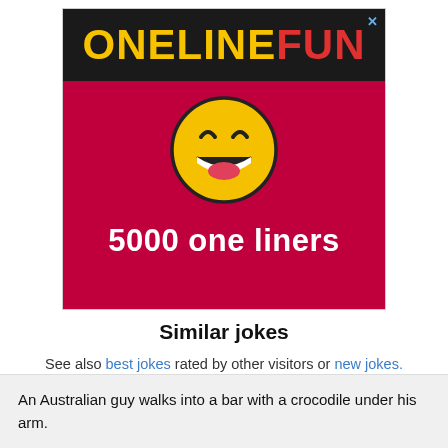[Figure (logo): ONELINEFUN advertisement banner with black top bar showing 'ONELINEFUN' logo in yellow and red letters, dark red/crimson background, laughing emoji face in center, text '5000 one liners' in white bold text]
Similar jokes
See also best jokes rated by other visitors or new jokes.
An Australian guy walks into a bar with a crocodile under his arm.